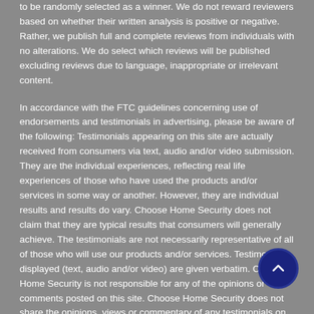to be randomly selected as a winner. We do not reward reviewers based on whether their written analysis is positive or negative. Rather, we publish full and complete reviews from individuals with no alterations. We do select which reviews will be published excluding reviews due to language, inappropriate or irrelevant content.
In accordance with the FTC guidelines concerning use of endorsements and testimonials in advertising, please be aware of the following: Testimonials appearing on this site are actually received from consumers via text, audio and/or video submission. They are the individual experiences, reflecting real life experiences of those who have used the products and/or services in some way or another. However, they are individual results and results do vary. Choose Home Security does not claim that they are typical results that consumers will generally achieve. The testimonials are not necessarily representative of all of those who will use our products and/or services. Testimonials displayed (text, audio and/or video) are given verbatim. Choose Home Security is not responsible for any of the opinions or comments posted on this site. Choose Home Security does not share the opinions, views or commentary of any testimonials on this site, which are strictly